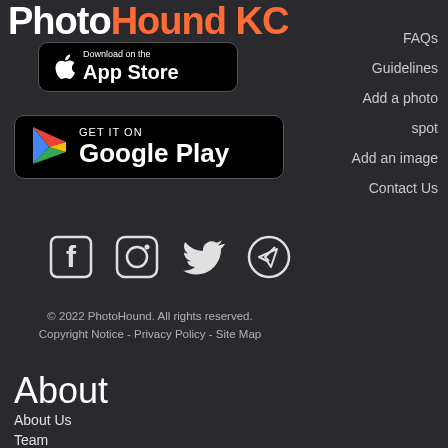PhotoHound KC
[Figure (logo): Download on the App Store button]
[Figure (logo): Get it on Google Play button]
[Figure (other): Social media icons: Facebook, Instagram, Twitter, Telegram]
FAQs
Guidelines
Add a photo
spot
Add an image
Contact Us
© 2022 PhotoHound. All rights reserved.
Copyright Notice - Privacy Policy - Site Map
About
About Us
Team
Responsible Photography